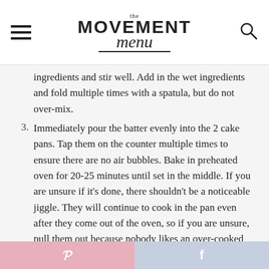the MOVEMENT menu
ingredients and stir well. Add in the wet ingredients and fold multiple times with a spatula, but do not over-mix.
3. Immediately pour the batter evenly into the 2 cake pans. Tap them on the counter multiple times to ensure there are no air bubbles. Bake in preheated oven for 20-25 minutes until set in the middle. If you are unsure if it's done, there shouldn't be a noticeable jiggle. They will continue to cook in the pan even after they come out of the oven, so if you are unsure, pull them out because nobody likes an over-cooked and dry cake! After about 30 minutes, carefully remove from the pans by running a knife
Pinterest | Facebook